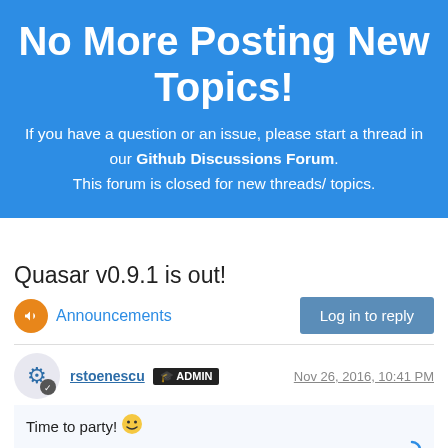No More Posting New Topics!
If you have a question or an issue, please start a thread in our Github Discussions Forum. This forum is closed for new threads/ topics.
Quasar v0.9.1 is out!
Announcements
Log in to reply
rstoenescu ADMIN Nov 26, 2016, 10:41 PM
Time to party! 🙂
Read release notes here: https://goo.gl/Oi6TJ5